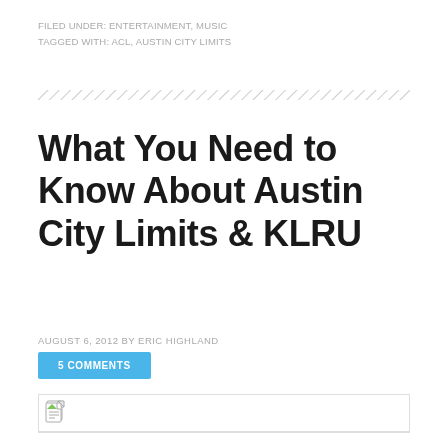FILED UNDER: ENTERTAINMENT, MUSIC
TAGGED WITH: ACL, AUSTIN CITY LIMITS
What You Need to Know About Austin City Limits & KLRU
AUGUST 6, 2012 BY ERIC HIGHLAND
5 COMMENTS
[Figure (other): Broken image placeholder with document icon]